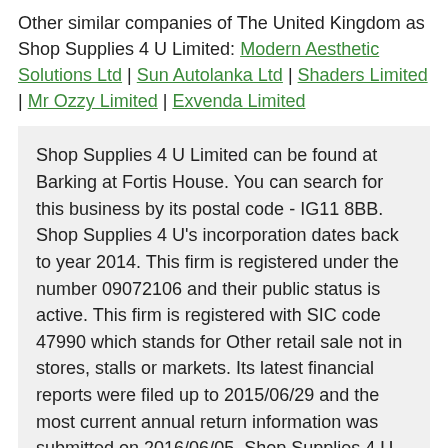Other similar companies of The United Kingdom as Shop Supplies 4 U Limited: Modern Aesthetic Solutions Ltd | Sun Autolanka Ltd | Shaders Limited | Mr Ozzy Limited | Exvenda Limited
Shop Supplies 4 U Limited can be found at Barking at Fortis House. You can search for this business by its postal code - IG11 8BB. Shop Supplies 4 U's incorporation dates back to year 2014. This firm is registered under the number 09072106 and their public status is active. This firm is registered with SIC code 47990 which stands for Other retail sale not in stores, stalls or markets. Its latest financial reports were filed up to 2015/06/29 and the most current annual return information was submitted on 2016/06/05. Shop Supplies 4 U Ltd has been the leader in this particular field for the last 2 years.
When it comes to this business, just about all of director's responsibilities have so far been fulfilled by Naveed Javed who was appointed in 2014 in December.